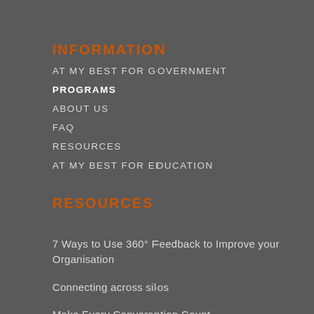INFORMATION
AT MY BEST FOR GOVERNMENT
PROGRAMS
ABOUT US
FAQ
RESOURCES
AT MY BEST FOR EDUCATION
RESOURCES
7 Ways to Use 360° Feedback to Improve your Organisation
Connecting across silos
Make Every Conversation Count